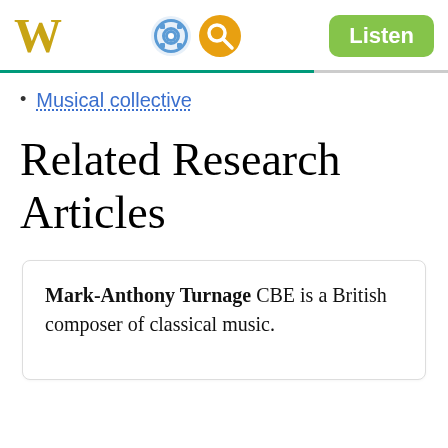W  [settings icon] [search icon]  Listen
Musical collective
Related Research Articles
Mark-Anthony Turnage CBE is a British composer of classical music.